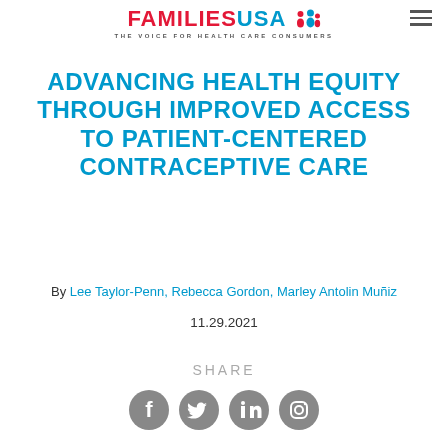[Figure (logo): Families USA logo — red 'FAMILIES' text, blue 'USA' with family icon, tagline 'THE VOICE FOR HEALTH CARE CONSUMERS']
ADVANCING HEALTH EQUITY THROUGH IMPROVED ACCESS TO PATIENT-CENTERED CONTRACEPTIVE CARE
By Lee Taylor-Penn, Rebecca Gordon, Marley Antolin Muñiz
11.29.2021
SHARE
[Figure (illustration): Social media share icons: Facebook, Twitter, LinkedIn, Instagram — all in grey circles]